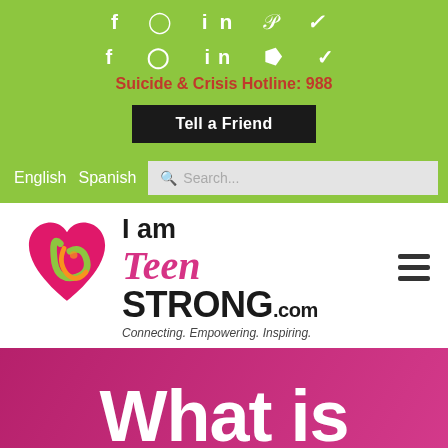f  in  p  (social icons)
Suicide & Crisis Hotline: 988
Tell a Friend
English  Spanish  Search...
[Figure (logo): I am Teen Strong.com logo with colorful heart graphic and tagline Connecting. Empowering. Inspiring.]
What is